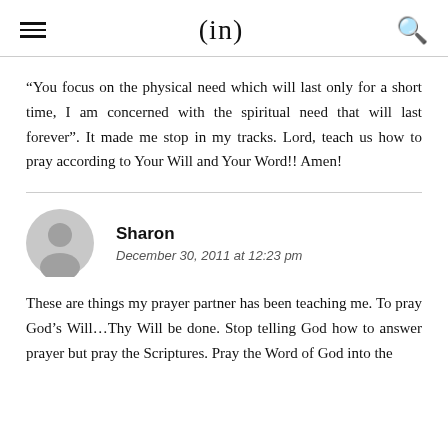(in)
“You focus on the physical need which will last only for a short time, I am concerned with the spiritual need that will last forever”. It made me stop in my tracks. Lord, teach us how to pray according to Your Will and Your Word!! Amen!
Sharon
December 30, 2011 at 12:23 pm
These are things my prayer partner has been teaching me. To pray God’s Will…Thy Will be done. Stop telling God how to answer prayer but pray the Scriptures. Pray the Word of God into the